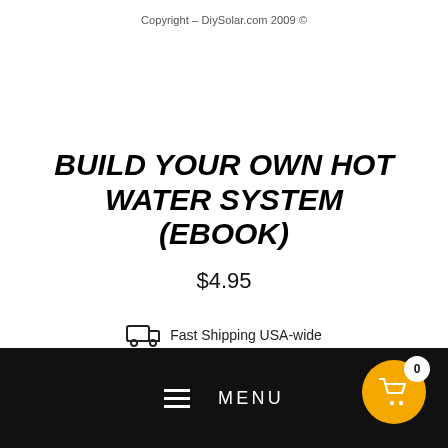Copyright – DiySolar.com 2009 ©
BUILD YOUR OWN HOT WATER SYSTEM (EBOOK)
$4.95
Fast Shipping USA-wide
Free 100 day returns on all orders
MENU